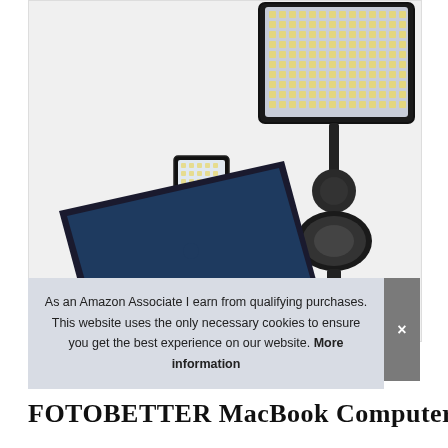[Figure (photo): Product photo showing two LED video lights: one small LED panel mounted on top of a laptop (MacBook), and one larger LED panel on a suction cup mount stand, both shown against a light background.]
As an Amazon Associate I earn from qualifying purchases. This website uses the only necessary cookies to ensure you get the best experience on our website. More information
FOTOBETTER MacBook Computer